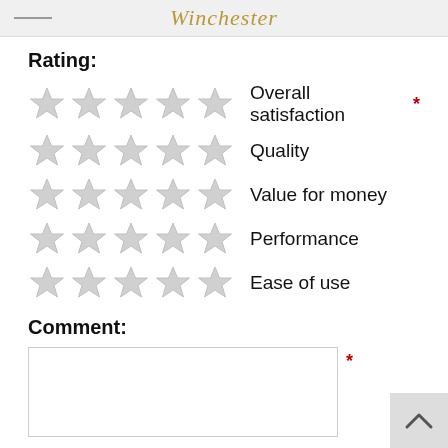Winchester
Rating:
Overall satisfaction *
Quality
Value for money
Performance
Ease of use
Comment:
[Figure (other): Empty comment text area input box with required marker asterisk]